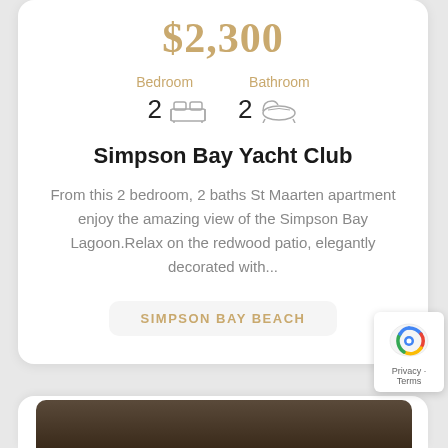$2,300
Bedroom  Bathroom
2  2
Simpson Bay Yacht Club
From this 2 bedroom, 2 baths St Maarten apartment enjoy the amazing view of the Simpson Bay Lagoon.Relax on the redwood patio, elegantly decorated with...
SIMPSON BAY BEACH